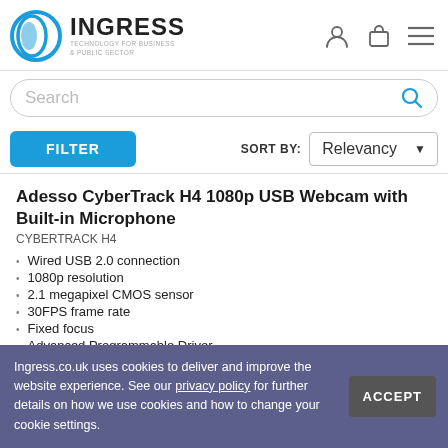INGRESS TECHNOLOGY FOR BUSINESS & PUBLIC SECTOR
Search
FILTER   SORT BY: Relevancy
Adesso CyberTrack H4 1080p USB Webcam with Built-in Microphone
CYBERTRACK H4
Wired USB 2.0 connection
1080p resolution
2.1 megapixel CMOS sensor
30FPS frame rate
Fixed focus
Advanced Programmable Driver
Integrated microphone
Compatible with most business video conferencing applications
Multiple OS compatibility
Ingress.co.uk uses cookies to deliver and improve the website experience. See our privacy policy for further details on how we use cookies and how to change your cookie settings.